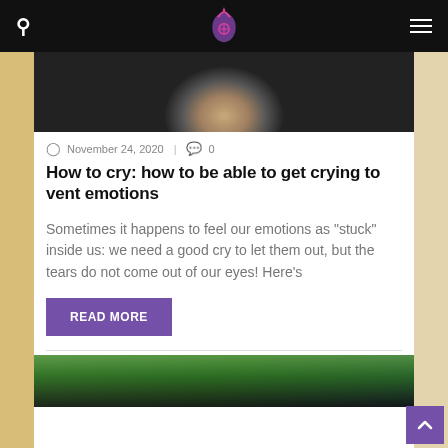Website header with search icon, logo, and hamburger menu
[Figure (photo): Close-up photo of a person's face (lower portion, chin/neck area) with dark background]
November 24, 2020  |  0
How to cry: how to be able to get crying to vent emotions
Sometimes it happens to feel our emotions as "stuck" inside us: we need a good cry to let them out, but the tears do not come out of our eyes! Here's
READ MORE
[Figure (photo): Partial photo visible at bottom of page, appears to show a person standing outdoors]